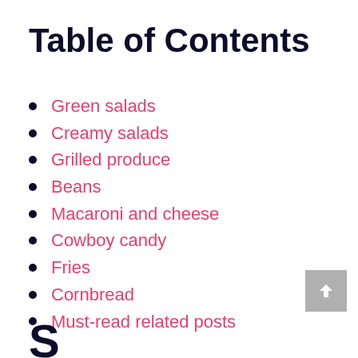Table of Contents
Green salads
Creamy salads
Grilled produce
Beans
Macaroni and cheese
Cowboy candy
Fries
Cornbread
Must-read related posts